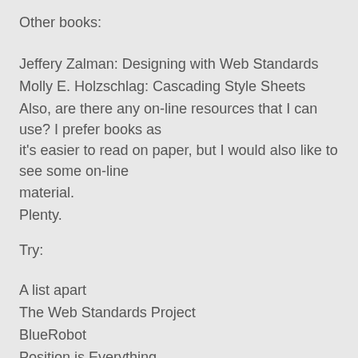Other books:
Jeffery Zalman: Designing with Web Standards
Molly E. Holzschlag: Cascading Style Sheets
Also, are there any on-line resources that I can use? I prefer books as it's easier to read on paper, but I would also like to see some on-line material.
Plenty.
Try:
A list apart
The Web Standards Project
BlueRobot
Position is Everything